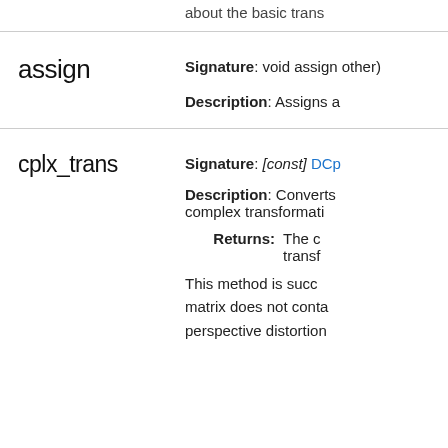about the basic trans
assign
Signature: void assign other)
Description: Assigns a
cplx_trans
Signature: [const] DCp
Description: Converts complex transformati
Returns: The c transf
This method is succ matrix does not conta perspective distortion